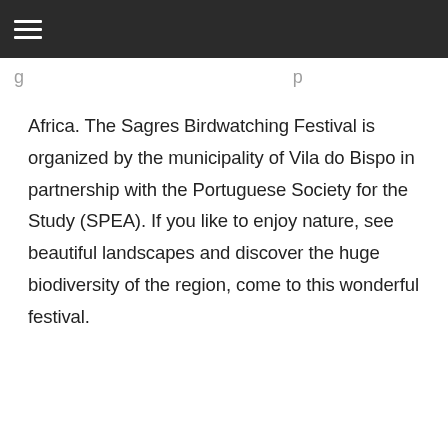≡
Africa. The Sagres Birdwatching Festival is organized by the municipality of Vila do Bispo in partnership with the Portuguese Society for the Study (SPEA). If you like to enjoy nature, see beautiful landscapes and discover the huge biodiversity of the region, come to this wonderful festival.